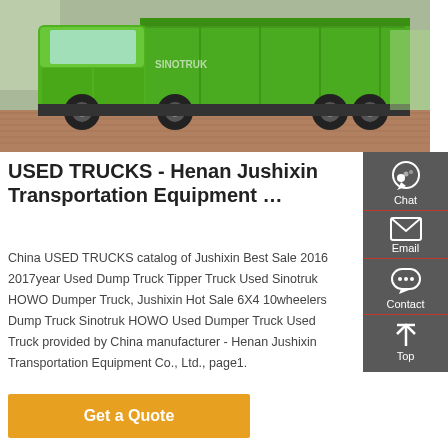[Figure (photo): Green Sinotruk HOWO dump truck / tipper truck displayed outdoors on a brick/concrete surface, shown from the side. The truck has a bright green cab and container body. A red display stand is visible in the background.]
USED TRUCKS - Henan Jushixin Transportation Equipment …
China USED TRUCKS catalog of Jushixin Best Sale 2016 2017year Used Dump Truck Tipper Truck Used Sinotruk HOWO Dumper Truck, Jushixin Hot Sale 6X4 10wheelers Dump Truck Sinotruk HOWO Used Dumper Truck Used Truck provided by China manufacturer - Henan Jushixin Transportation Equipment Co., Ltd., page1.
[Figure (infographic): Sidebar with four icon buttons: Chat (headset icon), Email (envelope icon), Contact (speech bubble icon), Top (upward arrow icon). Dark grey background with red dividers.]
Get a Quote